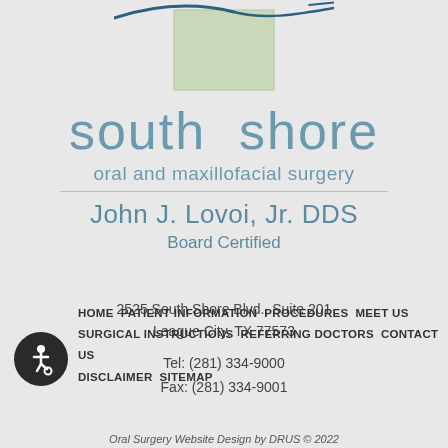[Figure (logo): South Shore Oral and Maxillofacial Surgery logo with a light green rectangle and dark teal curved surgical line graphic]
south shore
oral and maxillofacial surgery
John J. Lovoi, Jr. DDS
Board Certified
2525 South Shore Blvd., Suite 201
League City, TX 77573
Tel: (281) 334-9000
Fax: (281) 334-9001
HOME  PATIENT INFORMATION  PROCEDURES  MEET US  SURGICAL INSTRUCTIONS  REFERRING DOCTORS  CONTACT US  DISCLAIMER  SITEMAP
Oral Surgery Website Design by DRUS © 2022